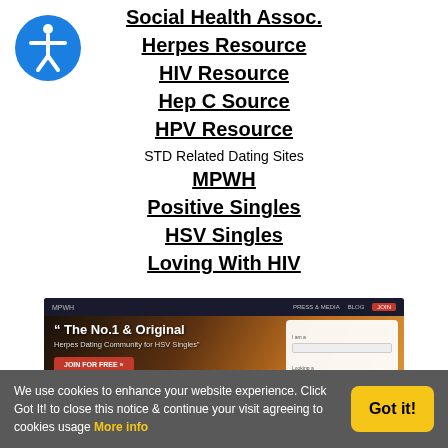[Figure (logo): Blue circle accessibility icon with white stick figure]
Social Health Assoc.
Herpes Resource
HIV Resource
Hep C Source
HPV Resource
STD Related Dating Sites
MPWH
Positive Singles
HSV Singles
Loving With HIV
[Figure (screenshot): Screenshot of MPWH website showing 'The No.1 & Original Herpes Dating Community for HSV Singles' with JOIN FOR FREE button, App Store and Google Play badges, and a registration form overlay]
We use cookies to enhance your website experience. Click Got It! to close this notice & continue your visit agreeing to cookies usage More info